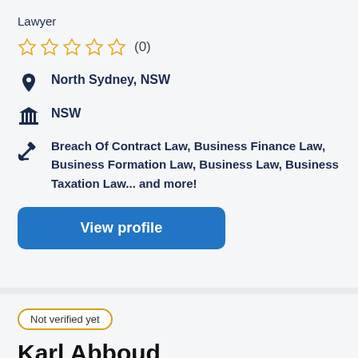Lawyer
[Figure (other): Five empty/outline star rating icons in gold/orange, followed by review count (0)]
North Sydney, NSW
NSW
Breach Of Contract Law, Business Finance Law, Business Formation Law, Business Law, Business Taxation Law... and more!
View profile
Not verified yet
Karl Abboud
Lawyer